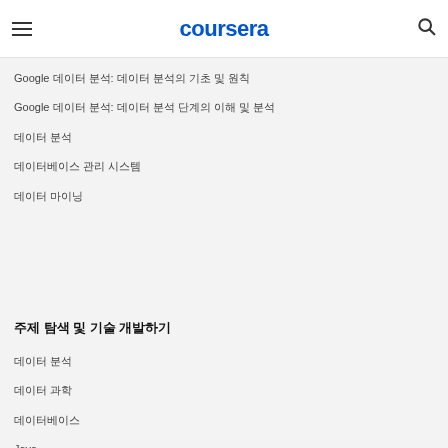coursera
Google 데이터 분석: 데이터 분석의 기초 및 원칙
Google 데이터 분석: 데이터 분석 단계의 이해 및 분석
데이터 분석
데이터베이스 관리 시스템
데이터 마이닝
주제 탐색 및 기술 개발하기
데이터 분석
데이터 과학
데이터베이스
Java